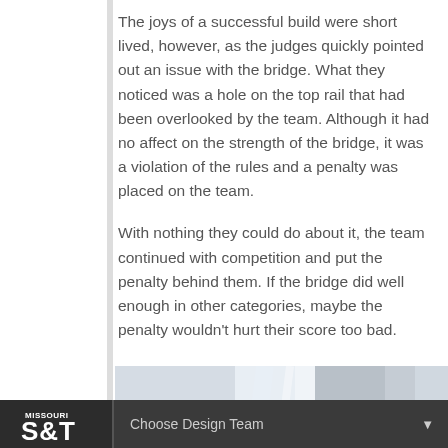The joys of a successful build were short lived, however, as the judges quickly pointed out an issue with the bridge. What they noticed was a hole on the top rail that had been overlooked by the team. Although it had no affect on the strength of the bridge, it was a violation of the rules and a penalty was placed on the team.
With nothing they could do about it, the team continued with competition and put the penalty behind them. If the bridge did well enough in other categories, maybe the penalty wouldn't hurt their score too bad.
[Figure (photo): Partial photo of what appears to be a bridge structure or construction element, partially cropped at the bottom of the page]
Missouri S&T | Choose Design Team